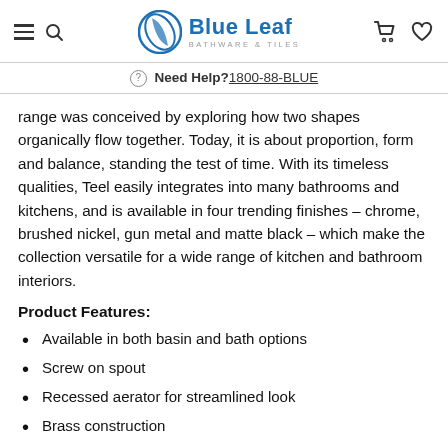Blue Leaf Bathware & Tiles — Need Help? 1800-88-BLUE
range was conceived by exploring how two shapes organically flow together. Today, it is about proportion, form and balance, standing the test of time. With its timeless qualities, Teel easily integrates into many bathrooms and kitchens, and is available in four trending finishes – chrome, brushed nickel, gun metal and matte black – which make the collection versatile for a wide range of kitchen and bathroom interiors.
Product Features:
Available in both basin and bath options
Screw on spout
Recessed aerator for streamlined look
Brass construction